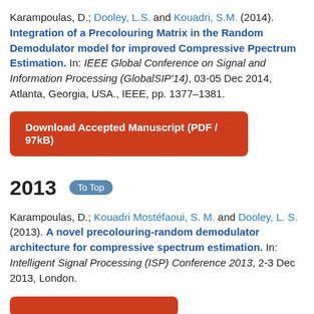Karampoulas, D.; Dooley, L.S. and Kouadri, S.M. (2014). Integration of a Precolouring Matrix in the Random Demodulator model for improved Compressive Ppectrum Estimation. In: IEEE Global Conference on Signal and Information Processing (GlobalSIP'14), 03-05 Dec 2014, Atlanta, Georgia, USA., IEEE, pp. 1377–1381.
Download Accepted Manuscript (PDF / 97kB)
2013
Karampoulas, D.; Kouadri Mostéfaoui, S. M. and Dooley, L. S. (2013). A novel precolouring-random demodulator architecture for compressive spectrum estimation. In: Intelligent Signal Processing (ISP) Conference 2013, 2-3 Dec 2013, London.
Download Accepted Manuscript